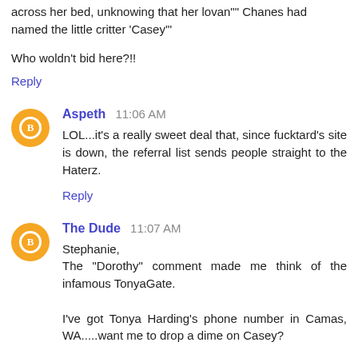across her bed, unknowing that her lovan"" Chanes had named the little critter 'Casey'"
Who woldn't bid here?!!
Reply
Aspeth  11:06 AM
LOL...it's a really sweet deal that, since fucktard's site is down, the referral list sends people straight to the Haterz.
Reply
The Dude  11:07 AM
Stephanie,
The "Dorothy" comment made me think of the infamous TonyaGate.

I've got Tonya Harding's phone number in Camas, WA.....want me to drop a dime on Casey?